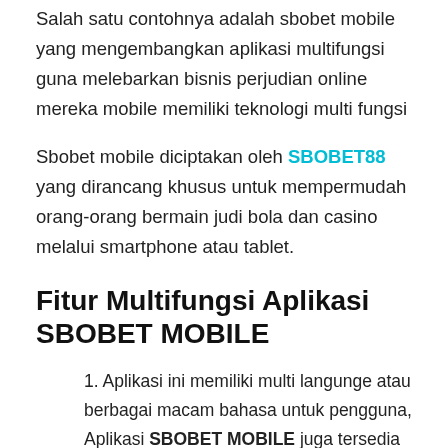Salah satu contohnya adalah sbobet mobile yang mengembangkan aplikasi multifungsi guna melebarkan bisnis perjudian online mereka mobile memiliki teknologi multi fungsi
Sbobet mobile diciptakan oleh SBOBET88 yang dirancang khusus untuk mempermudah orang-orang bermain judi bola dan casino melalui smartphone atau tablet.
Fitur Multifungsi Aplikasi SBOBET MOBILE
1. Aplikasi ini memiliki multi langunge atau berbagai macam bahasa untuk pengguna, Aplikasi SBOBET MOBILE juga tersedia dalam bahasa Indonesia agar mudah dimengerti
2. menyediakan proses transaksi melalui bank online yaitu deposit dan withdraw melalui bank lokal melalui aplikasi ini